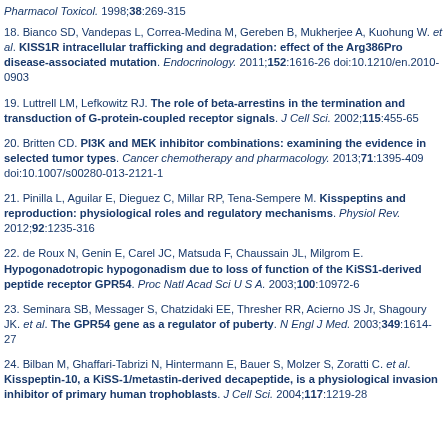Pharmacol Toxicol. 1998;38:269-315
18. Bianco SD, Vandepas L, Correa-Medina M, Gereben B, Mukherjee A, Kuohung W. et al. KISS1R intracellular trafficking and degradation: effect of the Arg386Pro disease-associated mutation. Endocrinology. 2011;152:1616-26 doi:10.1210/en.2010-0903
19. Luttrell LM, Lefkowitz RJ. The role of beta-arrestins in the termination and transduction of G-protein-coupled receptor signals. J Cell Sci. 2002;115:455-65
20. Britten CD. PI3K and MEK inhibitor combinations: examining the evidence in selected tumor types. Cancer chemotherapy and pharmacology. 2013;71:1395-409 doi:10.1007/s00280-013-2121-1
21. Pinilla L, Aguilar E, Dieguez C, Millar RP, Tena-Sempere M. Kisspeptins and reproduction: physiological roles and regulatory mechanisms. Physiol Rev. 2012;92:1235-316
22. de Roux N, Genin E, Carel JC, Matsuda F, Chaussain JL, Milgrom E. Hypogonadotropic hypogonadism due to loss of function of the KiSS1-derived peptide receptor GPR54. Proc Natl Acad Sci U S A. 2003;100:10972-6
23. Seminara SB, Messager S, Chatzidaki EE, Thresher RR, Acierno JS Jr, Shagoury JK. et al. The GPR54 gene as a regulator of puberty. N Engl J Med. 2003;349:1614-27
24. Bilban M, Ghaffari-Tabrizi N, Hintermann E, Bauer S, Molzer S, Zoratti C. et al. Kisspeptin-10, a KiSS-1/metastin-derived decapeptide, is a physiological invasion inhibitor of primary human trophoblasts. J Cell Sci. 2004;117:1219-28